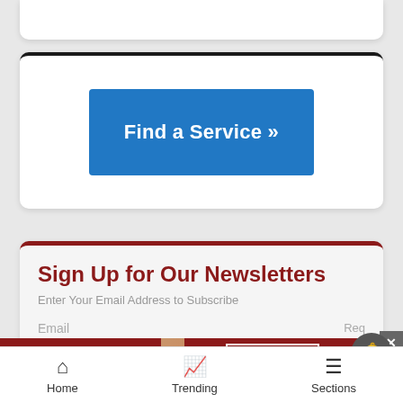[Figure (screenshot): Blue 'Find a Service »' button inside a white card with dark top border]
Sign Up for Our Newsletters
Enter Your Email Address to Subscribe
Email
[Figure (screenshot): Macy's advertisement banner: KISS BORING LIPS GOODBYE with SHOP NOW button and Macy's star logo]
Home    Trending    Sections